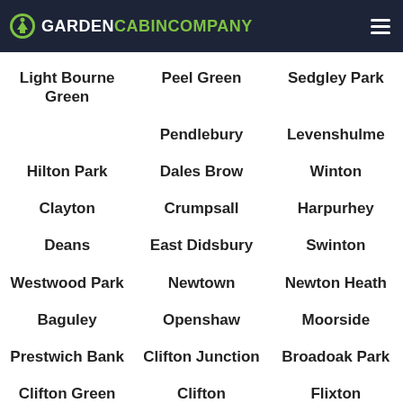Garden Cabin Company
Light Bourne Green
Peel Green
Sedgley Park
Pendlebury
Levenshulme
Hilton Park
Dales Brow
Winton
Clayton
Crumpsall
Harpurhey
Deans
East Didsbury
Swinton
Westwood Park
Newtown
Newton Heath
Baguley
Openshaw
Moorside
Prestwich Bank
Clifton Junction
Broadoak Park
Clifton Green
Clifton
Flixton